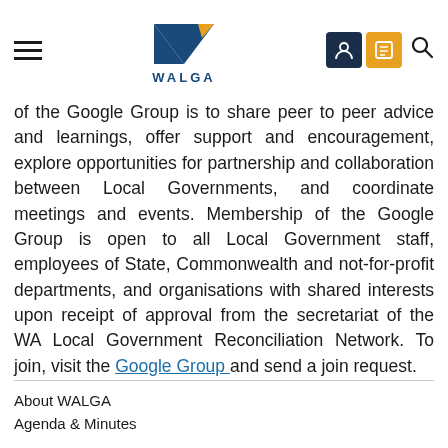WALGA
of the Google Group is to share peer to peer advice and learnings, offer support and encouragement, explore opportunities for partnership and collaboration between Local Governments, and coordinate meetings and events. Membership of the Google Group is open to all Local Government staff, employees of State, Commonwealth and not-for-profit departments, and organisations with shared interests upon receipt of approval from the secretariat of the WA Local Government Reconciliation Network. To join, visit the Google Group and send a join request.
About WALGA
Agenda & Minutes